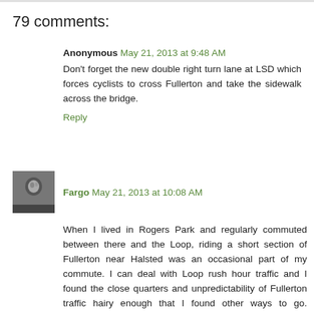79 comments:
Anonymous May 21, 2013 at 9:48 AM
Don't forget the new double right turn lane at LSD which forces cyclists to cross Fullerton and take the sidewalk across the bridge.
Reply
Fargo May 21, 2013 at 10:08 AM
When I lived in Rogers Park and regularly commuted between there and the Loop, riding a short section of Fullerton near Halsted was an occasional part of my commute. I can deal with Loop rush hour traffic and I found the close quarters and unpredictability of Fullerton traffic hairy enough that I found other ways to go. (Wrightwood was a good alternative.) I wouldn't even consider riding Fullerton east of Clark. It's a bit too zoo-like - not in a good way.